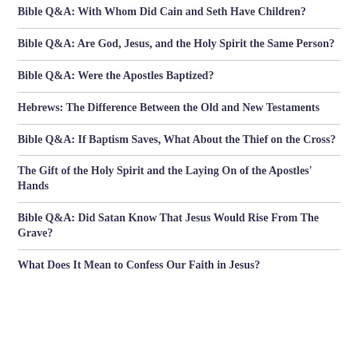Bible Q&A: With Whom Did Cain and Seth Have Children?
Bible Q&A: Are God, Jesus, and the Holy Spirit the Same Person?
Bible Q&A: Were the Apostles Baptized?
Hebrews: The Difference Between the Old and New Testaments
Bible Q&A: If Baptism Saves, What About the Thief on the Cross?
The Gift of the Holy Spirit and the Laying On of the Apostles' Hands
Bible Q&A: Did Satan Know That Jesus Would Rise From The Grave?
What Does It Mean to Confess Our Faith in Jesus?